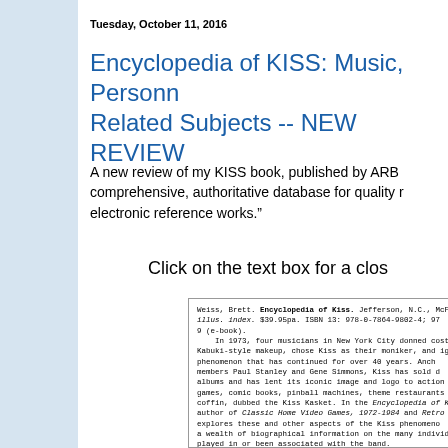Tuesday, October 11, 2016
Encyclopedia of KISS: Music, Personnel, Related Subjects -- NEW REVIEW
A new review of my KISS book, published by ARBA, a comprehensive, authoritative database for quality reference and electronic reference works.”
Click on the text box for a clos...
[Figure (screenshot): A scanned review excerpt from a reference database. The review begins: Weiss, Brett. Encyclopedia of Kiss. Jefferson, N.C., McFarland... illus. index. $39.95pa. ISBN 13: 978-0-7864-9802-4; 97... 9 (e-book). In 1973, four musicians in New York City donned cos... Kabuki-style makeup, chose Kiss as their moniker, and ig... phenomenon that has continued for over 40 years. Anch... members Paul Stanley and Gene Simmons, Kiss has sold... albums and has lent its iconic image and logo to action fi... games, comic books, pinball machines, theme restaurants... coffin, dubbed the Kiss Kasket. In the Encyclopedia of Kiss,... author of Classic Home Video Games, 1972-1984 and Retro Po... explores these and other aspects of the Kiss phenomeno... a wealth of biographical information on the many individu... played in or been associated with the band. Weiss's enthusiasm for his subject is palpable, and his... pop culture serves him well in navigating the vast univer... products. To his further credit, Weiss maintains sufficien... acknowledge the less positive aspects of Kiss's legacy (t... creative output in the 1980s, for example) without actin... apologist. Skimming through the pages one cannot fail to... extent to which Kiss's success has hinged on persevera... the dedication of supporters like manager Bill Aucoi...]